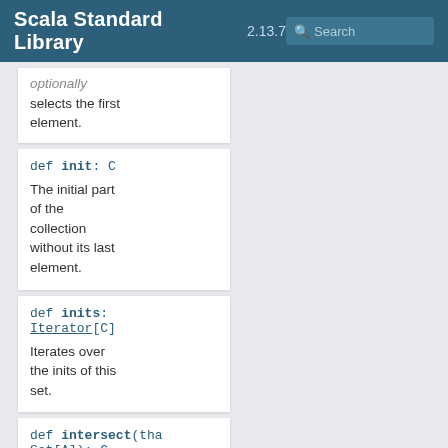Scala Standard Library 2.13.7
optionally selects the first element.
def init: C
The initial part of the collection without its last element.
def inits: Iterator[C]
Iterates over the inits of this set.
def intersect(that: Set[A]): C
Computes the intersection between this set and another set.